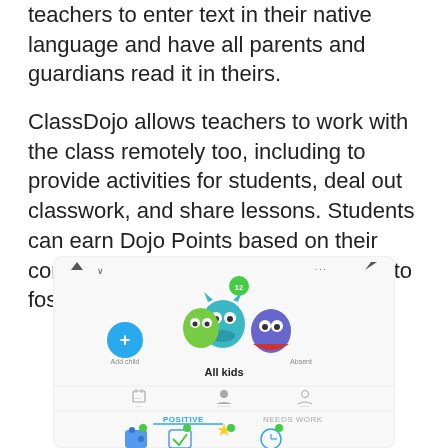teachers to enter text in their native language and have all parents and guardians read it in theirs.
ClassDojo allows teachers to work with the class remotely too, including to provide activities for students, deal out classwork, and share lessons. Students can earn Dojo Points based on their conduct, letting teachers use the app to foster positive student behavior.
[Figure (screenshot): ClassDojo app screenshot showing 'All kids' screen with monster avatars, Add child button, Absent label, tab icons, POSITIVE/NEEDS WORK tabs, and behavior icon row at the bottom.]